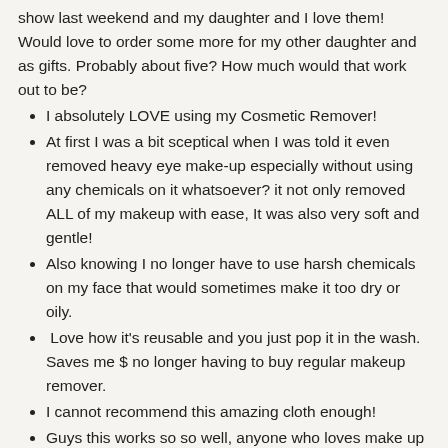show last weekend and my daughter and I love them! Would love to order some more for my other daughter and as gifts. Probably about five? How much would that work out to be?
I absolutely LOVE using my Cosmetic Remover!
At first I was a bit sceptical when I was told it even removed heavy eye make-up especially without using any chemicals on it whatsoever? it not only removed ALL of my makeup with ease, It was also very soft and gentle!
Also knowing I no longer have to use harsh chemicals on my face that would sometimes make it too dry or oily.
Love how it's reusable and you just pop it in the wash. Saves me $ no longer having to buy regular makeup remover.
I cannot recommend this amazing cloth enough!
Guys this works so so well, anyone who loves make up need to have one
Frequently asked Questions
How does it work?  The secret lies in the fabric – when you add water, your Cosmetic Remover gently takes away your